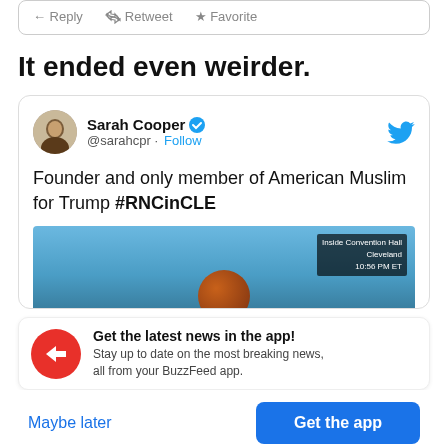[Figure (screenshot): Tweet action bar with Reply, Retweet, Favorite links]
It ended even weirder.
[Figure (screenshot): Tweet from @sarahcpr (Sarah Cooper, verified) with text 'Founder and only member of American Muslim for Trump #RNCinCLE' and a TV screenshot image]
Get the latest news in the app! Stay up to date on the most breaking news, all from your BuzzFeed app.
Maybe later
Get the app